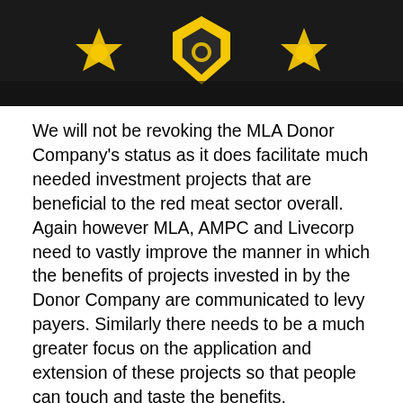[Figure (illustration): A dark/grey background scene (outdoor night or dusk setting) with a yellow and black shield/crest logo in the center, flanked by two yellow star/badge emblems on either side.]
We will not be revoking the MLA Donor Company's status as it does facilitate much needed investment projects that are beneficial to the red meat sector overall. Again however MLA, AMPC and Livecorp need to vastly improve the manner in which the benefits of projects invested in by the Donor Company are communicated to levy payers. Similarly there needs to be a much greater focus on the application and extension of these projects so that people can touch and taste the benefits.
As for transparency in the supply chain, we all want more of that. Through the Agricultural Competitiveness White Paper we are delivering $11.4 million to establish an ACCC Commissioner